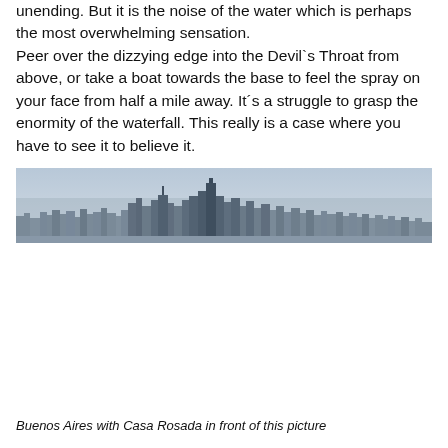unending. But it is the noise of the water which is perhaps the most overwhelming sensation.
Peer over the dizzying edge into the Devil`s Throat from above, or take a boat towards the base to feel the spray on your face from half a mile away. It´s a struggle to grasp the enormity of the waterfall. This really is a case where you have to see it to believe it.
[Figure (photo): Wide panoramic cityscape of Buenos Aires showing a dense urban skyline with many buildings under a hazy sky, with Casa Rosada visible.]
Buenos Aires with Casa Rosada in front of this picture